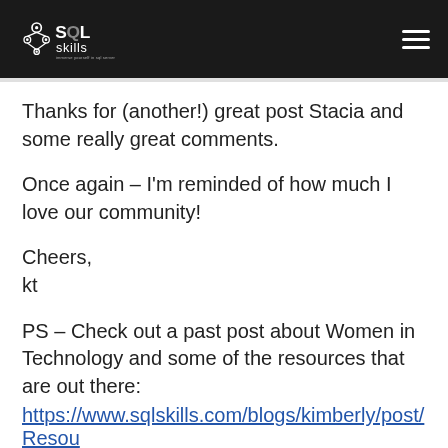SQLskills
Thanks for (another!) great post Stacia and some really great comments.
Once again – I'm reminded of how much I love our community!
Cheers,
kt
PS – Check out a past post about Women in Technology and some of the resources that are out there:
https://www.sqlskills.com/blogs/kimberly/post/Resou